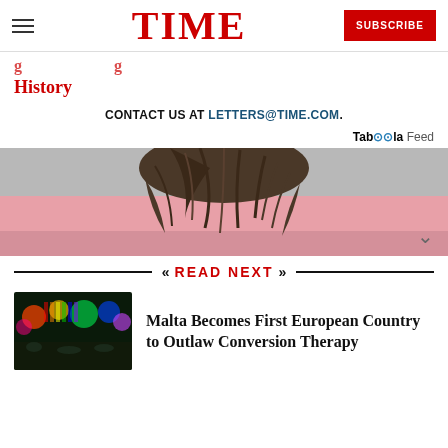TIME
History
CONTACT US AT LETTERS@TIME.COM.
Taboola Feed
[Figure (photo): Partial view of person's head/hair against pink background]
READ NEXT
[Figure (photo): Thumbnail image of Malta Pride event with colorful lights]
Malta Becomes First European Country to Outlaw Conversion Therapy